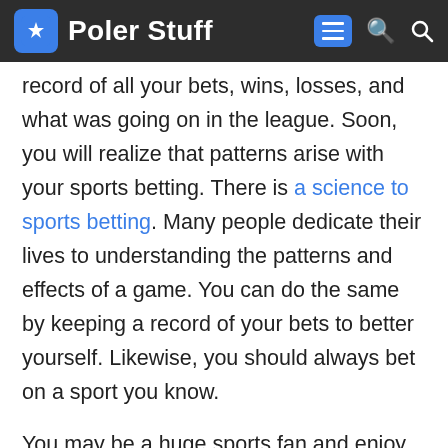Poler Stuff
record of all your bets, wins, losses, and what was going on in the league. Soon, you will realize that patterns arise with your sports betting. There is a science to sports betting. Many people dedicate their lives to understanding the patterns and effects of a game. You can do the same by keeping a record of your bets to better yourself. Likewise, you should always bet on a sport you know.
You may be a huge sports fan and enjoy watching every sport. However, you cannot bet on every sport. It will help if you bet on the sport that you understand the most. So decide between NFL, NHL, or NBA picks and stick to it. You want to research the sport as much as possible, as the sport you have followed the most should be your next